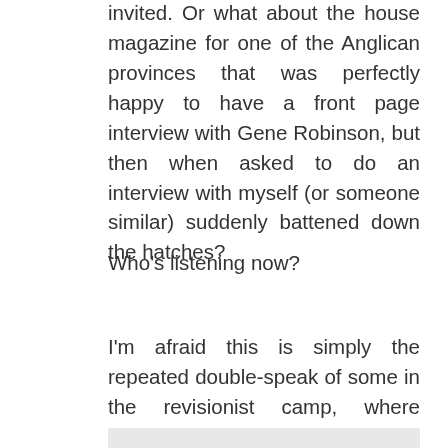invited. Or what about the house magazine for one of the Anglican provinces that was perfectly happy to have a front page interview with Gene Robinson, but then when asked to do an interview with myself (or someone similar) suddenly battened down the hatches?
Who's listening now?
I'm afraid this is simply the repeated double-speak of some in the revisionist camp, where listening actually means “hearing until you agree”.
We wish to reaffirm our loyalty to the Gospel of Jesus Christ as revealed in the scriptures, our commitment to the